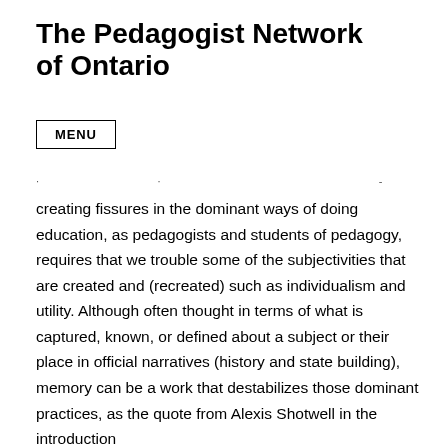The Pedagogist Network of Ontario
MENU
creating fissures in the dominant ways of doing education, as pedagogists and students of pedagogy, requires that we trouble some of the subjectivities that are created and (recreated) such as individualism and utility. Although often thought in terms of what is captured, known, or defined about a subject or their place in official narratives (history and state building), memory can be a work that destabilizes those dominant practices, as the quote from Alexis Shotwell in the introduction